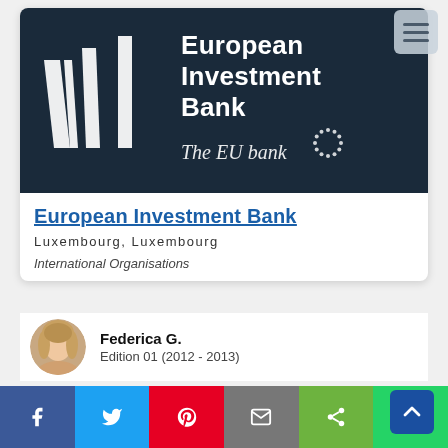[Figure (logo): European Investment Bank logo on dark navy background with stylized white vertical bars and EU stars circle, tagline 'The EU bank']
European Investment Bank
Luxembourg, Luxembourg
International Organisations
[Figure (photo): Circular avatar photo of reviewer Federica G., a woman with light hair]
Federica G.
Edition 01 (2012 - 2013)